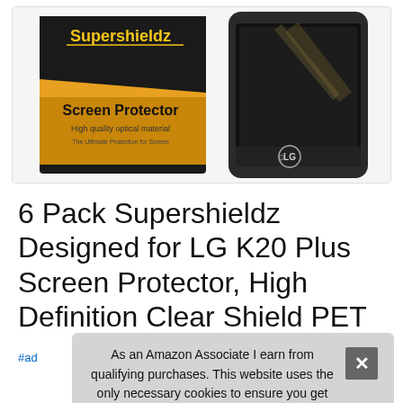[Figure (photo): Product photo showing Supershieldz Screen Protector box with orange label and LG K20 Plus smartphone]
6 Pack Supershieldz Designed for LG K20 Plus Screen Protector, High Definition Clear Shield PET
#ad
As an Amazon Associate I earn from qualifying purchases. This website uses the only necessary cookies to ensure you get the best experience on our website. More information